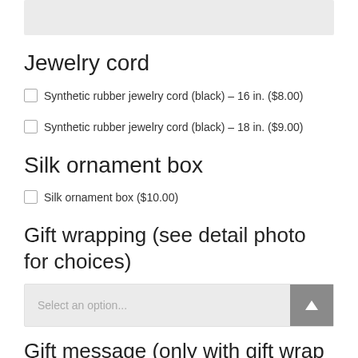[Figure (screenshot): Gray input box at top of page, partially visible]
Jewelry cord
Synthetic rubber jewelry cord (black) – 16 in. ($8.00)
Synthetic rubber jewelry cord (black) – 18 in. ($9.00)
Silk ornament box
Silk ornament box ($10.00)
Gift wrapping (see detail photo for choices)
[Figure (screenshot): Select an option dropdown box with up arrow button]
Gift message (only with gift wrap option)